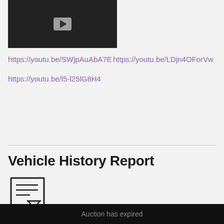[Figure (screenshot): Video thumbnail with dark background and play button]
https://youtu.be/SWjpAuAbA7E
https://youtu.be/LDjn4OForVw
https://youtu.be/l5-l25lG8H4
Vehicle History Report
[Figure (illustration): Document/report icon with hourglass symbol]
CarFax
Auction has expired